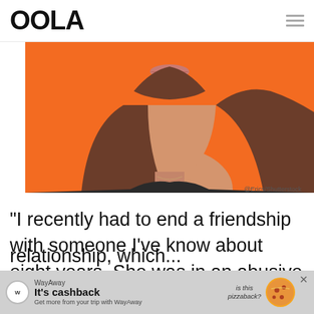OOLA
[Figure (photo): Close-up photo of a young woman with long brown hair against an orange background, showing her lower face and neck]
@Erics/Shutterstock
“I recently had to end a friendship with someone I’ve know about eight years. She was in an abusive relationship, which...
[Figure (other): WayAway advertisement banner: It's cashback - Get more from your trip with WayAway, with pizza illustration and is this pizzaback? text]